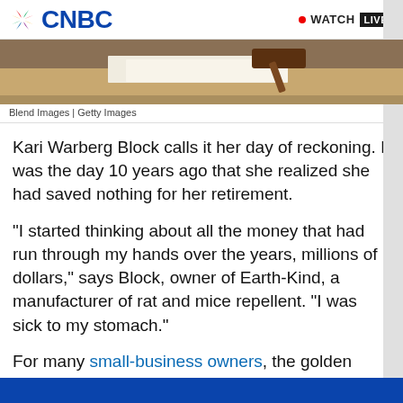CNBC | WATCH LIVE
[Figure (photo): Photo of a legal desk with papers and a gavel, credit: Blend Images | Getty Images]
Blend Images | Getty Images
Kari Warberg Block calls it her day of reckoning. It was the day 10 years ago that she realized she had saved nothing for her retirement.
"I started thinking about all the money that had run through my hands over the years, millions of dollars," says Block, owner of Earth-Kind, a manufacturer of rat and mice repellent. "I was sick to my stomach."
For many small-business owners, the golden years aren't looking so shiny. Many have devoted so much